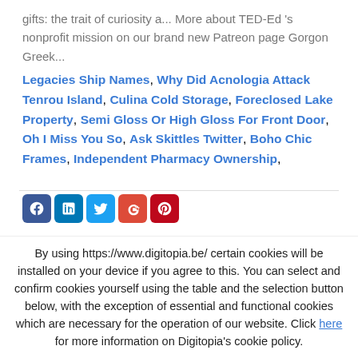gifts: the trait of curiosity a... More about TED-Ed 's nonprofit mission on our brand new Patreon page Gorgon Greek...
Legacies Ship Names, Why Did Acnologia Attack Tenrou Island, Culina Cold Storage, Foreclosed Lake Property, Semi Gloss Or High Gloss For Front Door, Oh I Miss You So, Ask Skittles Twitter, Boho Chic Frames, Independent Pharmacy Ownership,
[Figure (other): Social media icons: Facebook, LinkedIn, Twitter, Google+, Pinterest]
By using https://www.digitopia.be/ certain cookies will be installed on your device if you agree to this. You can select and confirm cookies yourself using the table and the selection button below, with the exception of essential and functional cookies which are necessary for the operation of our website. Click here for more information on Digitopia's cookie policy.